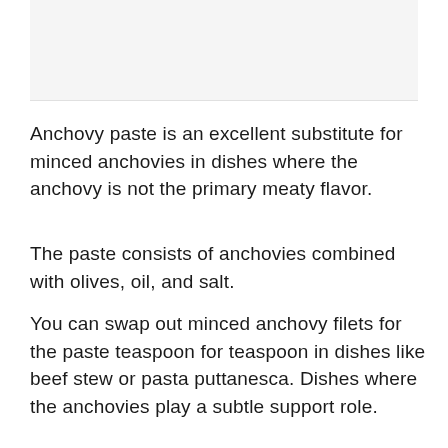[Figure (other): Blank/light gray rectangular image placeholder at the top of the page]
Anchovy paste is an excellent substitute for minced anchovies in dishes where the anchovy is not the primary meaty flavor.
The paste consists of anchovies combined with olives, oil, and salt.
You can swap out minced anchovy filets for the paste teaspoon for teaspoon in dishes like beef stew or pasta puttanesca. Dishes where the anchovies play a subtle support role.